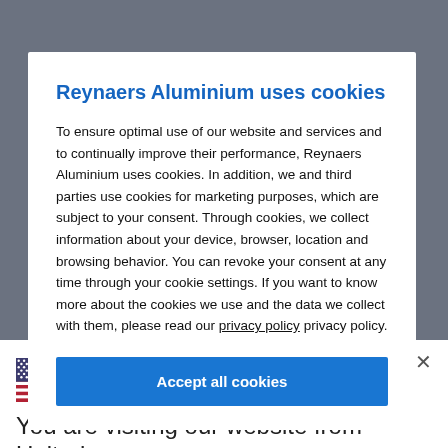[Figure (screenshot): Dark background photo of aluminium structures, partially visible behind the cookie consent modal.]
Reynaers Aluminium uses cookies
To ensure optimal use of our website and services and to continually improve their performance, Reynaers Aluminium uses cookies. In addition, we and third parties use cookies for marketing purposes, which are subject to your consent. Through cookies, we collect information about your device, browser, location and browsing behavior. You can revoke your consent at any time through your cookie settings. If you want to know more about the cookies we use and the data we collect with them, please read our privacy policy privacy policy.
Accept all cookies
[Figure (illustration): US flag icon]
You are visiting our website from United